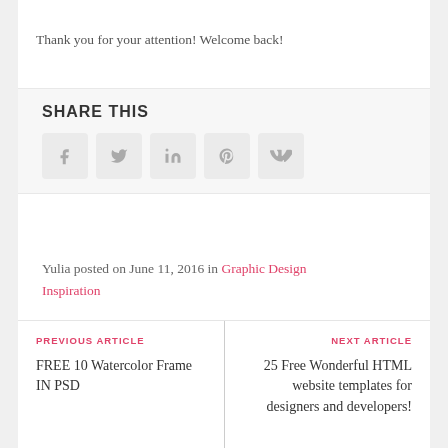Thank you for your attention! Welcome back!
SHARE THIS
[Figure (other): Social sharing buttons: Facebook, Twitter, LinkedIn, Pinterest, VK]
Yulia posted on June 11, 2016 in Graphic Design Inspiration
PREVIOUS ARTICLE
FREE 10 Watercolor Frame IN PSD
NEXT ARTICLE
25 Free Wonderful HTML website templates for designers and developers!